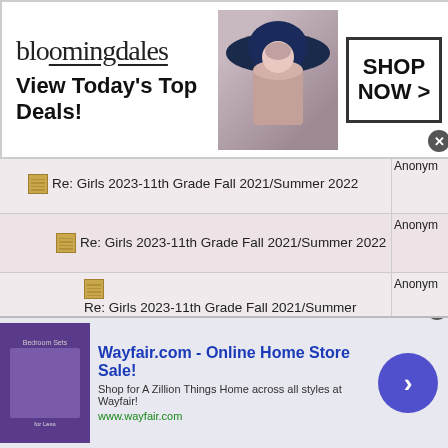[Figure (other): Bloomingdales advertisement banner: logo, 'View Today's Top Deals!', woman with hat, SHOP NOW button]
Re: Girls 2023-11th Grade Fall 2021/Summer 2022 | Anonym
Re: Girls 2023-11th Grade Fall 2021/Summer 2022 | Anonym
Re: Girls 2023-11th Grade Fall 2021/Summer 2022 | Anonym
Re: Girls 2023-11th Grade Fall 2021/Summer 2022 | Anonym
Re: Girls 2023-11th Grade Fall 2021/Summer 2022 | Anonym
Re: Girls 2023-11th Grade Fall 2021/Summer 2022 | Anonym
Re: Girls 2023-11th Grade Fall 2021/Summer 2022 | Anonym
[Figure (other): Wayfair.com advertisement banner: 'Online Home Store Sale!', bedroom sets image, arrow button]